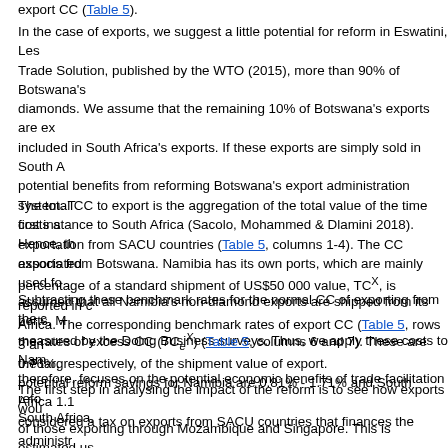export CC (Table 5).
In the case of exports, we suggest a little potential for reform in Eswatini, Les... Trade Solution, published by the WTO (2015), more than 90% of Botswana's... diamonds. We assume that the remaining 10% of Botswana's exports are ex... included in South Africa's exports. If these exports are simply sold in South A... potential benefits from reforming Botswana's export administration system. T... first instance to South Africa (Sacolo, Mohammed & Dlamini 2018). Hence, th... exports from Botswana. Namibia has its own ports, which are mainly used fo... assumed that all Namibia's non-diamond exports are shipped from its ports. M... measured by the Doing Business surveys. Thus, we apply these costs to Nam... therefore, focuses on the potential economic benefits of trade facilitation refo... South Africa.
The total CC to export is the aggregation of the total value of the time costs a... exportation from SACU countries (Table 5, columns 1-4). The CC associated... percentage of a standard shipment of US$50 000 value, TC^X, is reported in c... Africa. The corresponding benchmark rates of export CC (Table 5, rows 3 an... 0.76%, respectively, of the shipment value of export.
Subtracting these benchmark rates for the normal CC of exporting from the c... the rates of excess CC (TC_e^X) (Table 5, columns 6 and 7). These are the tar... potential reform savings for Namibia are 0.81% - 1.71% and South Africa 1.1... considered a tax on exports from SACU countries that finances the administr... facilitate the administration of the export of commodities.
The first step in analysing the impact of the reform is to see how exports wou... of those exporting through Mozambique and Singapore. This is estimated us... and the volumes of exports of Namibia and South Africa (Table 1). The result... reform of the export process would increase the volume of exports by 1.03%...